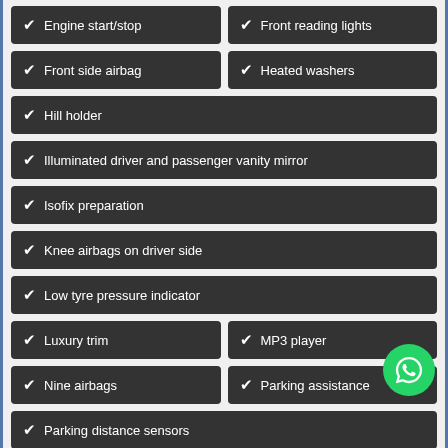✔ Engine start/stop
✔ Front reading lights
✔ Front side airbag
✔ Heated washers
✔ Hill holder
✔ Illuminated driver and passenger vanity mirror
✔ Isofix preparation
✔ Knee airbags on driver side
✔ Low tyre pressure indicator
✔ Luxury trim
✔ MP3 player
✔ Nine airbags
✔ Parking assistance
✔ Parking distance sensors